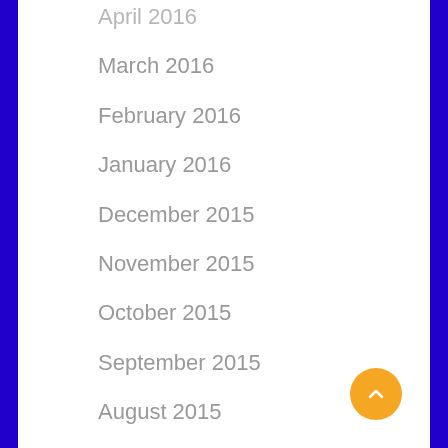April 2016
March 2016
February 2016
January 2016
December 2015
November 2015
October 2015
September 2015
August 2015
July 2015
June 2015
May 2015
April 2015
March 2015